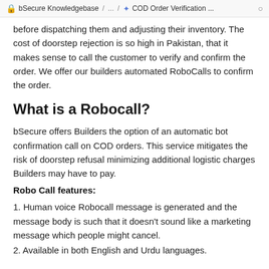bSecure Knowledgebase / ... / COD Order Verification ...
before dispatching them and adjusting their inventory. The cost of doorstep rejection is so high in Pakistan, that it makes sense to call the customer to verify and confirm the order. We offer our builders automated RoboCalls to confirm the order.
What is a Robocall?
bSecure offers Builders the option of an automatic bot confirmation call on COD orders. This service mitigates the risk of doorstep refusal minimizing additional logistic charges Builders may have to pay.
Robo Call features:
1. Human voice Robocall message is generated and the message body is such that it doesn't sound like a marketing message which people might cancel.
2. Available in both English and Urdu languages.